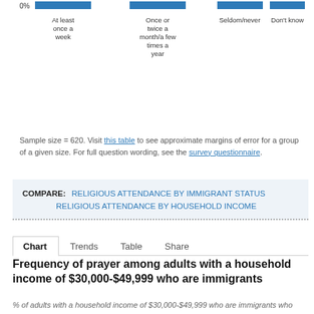[Figure (bar-chart): Partial bar chart visible at top of page showing 0% y-axis label and four x-axis category labels]
Sample size = 620. Visit this table to see approximate margins of error for a group of a given size. For full question wording, see the survey questionnaire.
COMPARE: RELIGIOUS ATTENDANCE BY IMMIGRANT STATUS   RELIGIOUS ATTENDANCE BY HOUSEHOLD INCOME
Chart   Trends   Table   Share
Frequency of prayer among adults with a household income of $30,000-$49,999 who are immigrants
% of adults with a household income of $30,000-$49,999 who are immigrants who pray...